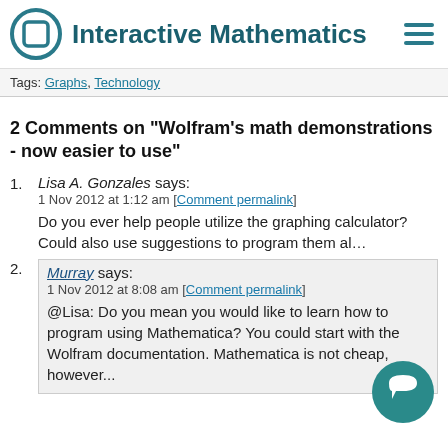Interactive Mathematics
Tags: Graphs, Technology
2 Comments on "Wolfram's math demonstrations - now easier to use"
1. Lisa A. Gonzales says:
1 Nov 2012 at 1:12 am [Comment permalink]
Do you ever help people utilize the graphing calculator?
Could also use suggestions to program them al...
2. Murray says:
1 Nov 2012 at 8:08 am [Comment permalink]
@Lisa: Do you mean you would like to learn how to program using Mathematica? You could start with the Wolfram documentation. Mathematica is not cheap, however...